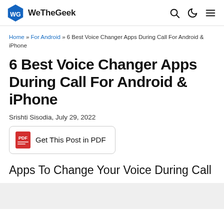WeTheGeek
Home » For Android » 6 Best Voice Changer Apps During Call For Android & iPhone
6 Best Voice Changer Apps During Call For Android & iPhone
Srishti Sisodia, July 29, 2022
Get This Post in PDF
Apps To Change Your Voice During Call